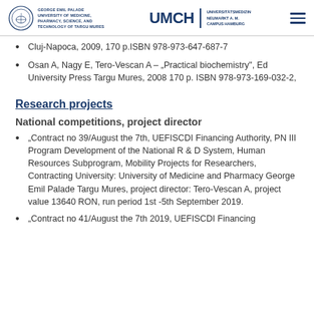George Emil Palade University of Medicine, Pharmacy, Science, and Technology of Targu Mures | UMCH Universitätsmedizin Neumarkt A. M. Campus Hamburg
Cluj-Napoca, 2009, 170 p.ISBN 978-973-647-687-7
Osan A, Nagy E, Tero-Vescan A – „Practical biochemistry", Ed University Press Targu Mures, 2008 170 p. ISBN 978-973-169-032-2,
Research projects
National competitions, project director
„Contract no 39/August the 7th, UEFISCDI Financing Authority, PN III Program Development of the National R & D System, Human Resources Subprogram, Mobility Projects for Researchers, Contracting University: University of Medicine and Pharmacy George Emil Palade Targu Mures, project director: Tero-Vescan A, project value 13640 RON, run period 1st -5th September 2019.
„Contract no 41/August the 7th 2019, UEFISCDI Financing